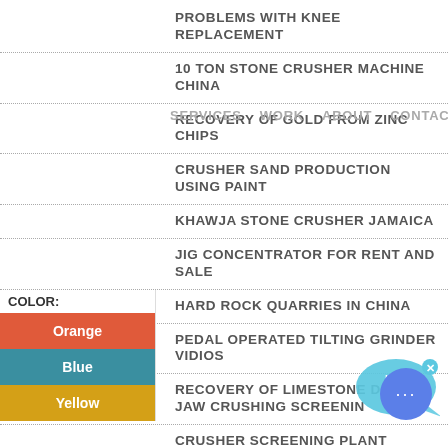PROBLEMS WITH KNEE REPLACEMENT
10 TON STONE CRUSHER MACHINE CHINA
SERVICES   WORK   ABOUT   CONTACT
RECOVERY OF GOLD FROM ZINC CHIPS
CRUSHER SAND PRODUCTION USING PAINT
KHAWJA STONE CRUSHER JAMAICA
JIG CONCENTRATOR FOR RENT AND SALE
HARD ROCK QUARRIES IN CHINA
PEDAL OPERATED TILTING GRINDER VIDIOS
RECOVERY OF LIMESTONE DURING JAW CRUSHING SCREENIN
CRUSHER SCREENING PLANT LAMPUNG
INTERNATIONAL MINING MACHINERY
QUARRY CRUSHER PLANT IN UAE
BENEFICIATION EQUIPMENT ZIRCONIUM
COLOR:
Orange
Blue
Yellow
[Figure (illustration): Live Chat speech bubble icon with fish tail, light blue color, with 'Live Chat' text and an x close button]
[Figure (illustration): Round blue chat button with three dots]